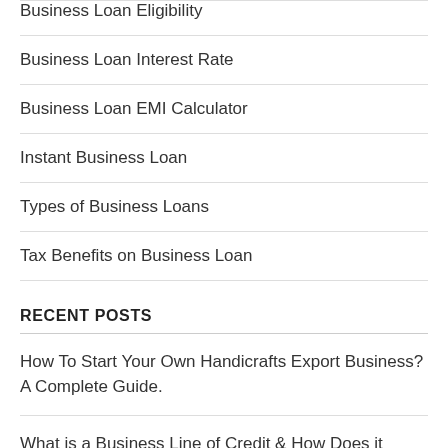Business Loan Eligibility
Business Loan Interest Rate
Business Loan EMI Calculator
Instant Business Loan
Types of Business Loans
Tax Benefits on Business Loan
RECENT POSTS
How To Start Your Own Handicrafts Export Business? A Complete Guide.
What is a Business Line of Credit & How Does it Work?
Business Line of Credit – How to Find the Best One?